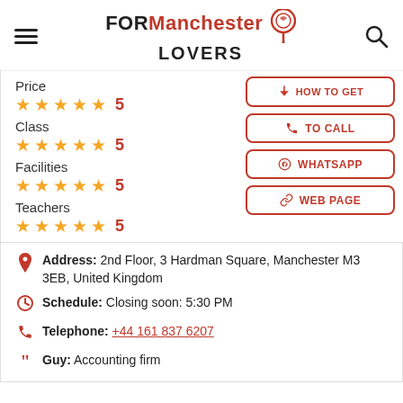FOR Manchester LOVERS
Price ★★★★★ 5
Class ★★★★★ 5
Facilities ★★★★★ 5
Teachers ★★★★★ 5
HOW TO GET
TO CALL
WHATSAPP
WEB PAGE
Address: 2nd Floor, 3 Hardman Square, Manchester M3 3EB, United Kingdom
Schedule: Closing soon: 5:30 PM
Telephone: +44 161 837 6207
Guy: Accounting firm